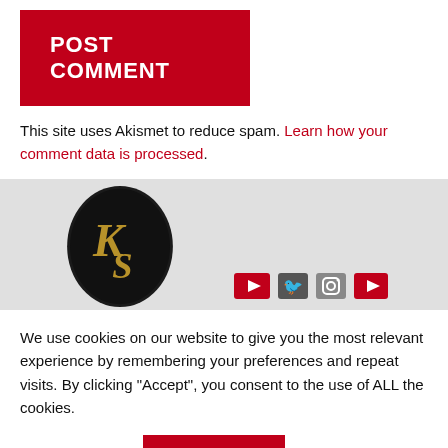POST COMMENT
This site uses Akismet to reduce spam. Learn how your comment data is processed.
[Figure (logo): Dark oval logo with stylized golden KS monogram letters on black background, partially visible]
We use cookies on our website to give you the most relevant experience by remembering your preferences and repeat visits. By clicking "Accept", you consent to the use of ALL the cookies.
Cookie settings
ACCEPT